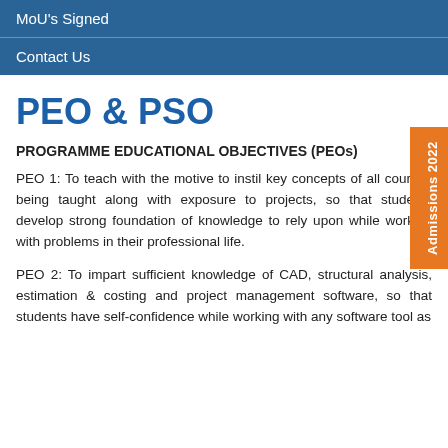MoU's Signed
Contact Us
PEO & PSO
PROGRAMME EDUCATIONAL OBJECTIVES (PEOs)
PEO 1: To teach with the motive to instil key concepts of all courses being taught along with exposure to projects, so that students develop strong foundation of knowledge to rely upon while working with problems in their professional life.
PEO 2: To impart sufficient knowledge of CAD, structural analysis, estimation & costing and project management software, so that students have self-confidence while working with any software tool as